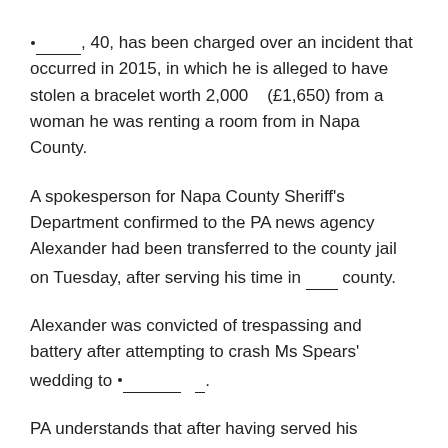_·_____, 40, has been charged over an incident that occurred in 2015, in which he is alleged to have stolen a bracelet worth 2,000   (£1,650) from a woman he was renting a room from in Napa County.
A spokesperson for Napa County Sheriff's Department confirmed to the PA news agency Alexander had been transferred to the county jail on Tuesday, after serving his time in ___ county.
Alexander was convicted of trespassing and battery after attempting to crash Ms Spears' wedding to _·______   .
PA understands that after having served his sentence, authorities from Napa County requested a hold on his release so that he could be collected by officers – an approximately ten-hour drive.